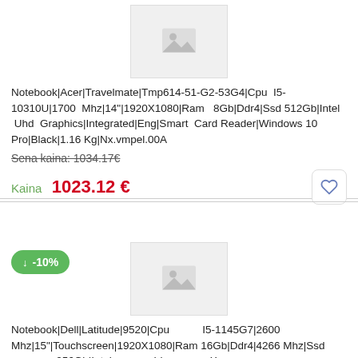[Figure (photo): Product image placeholder for first notebook listing]
Notebook|Acer|Travelmate|Tmp614-51-G2-53G4|Cpu I5-10310U|1700 Mhz|14"|1920X1080|Ram 8Gb|Ddr4|Ssd 512Gb|Intel Uhd Graphics|Integrated|Eng|Smart Card Reader|Windows 10 Pro|Black|1.16 Kg|Nx.vmpel.00A
Sena kaina: 1034.17€
Kaina  1023.12 €
[Figure (photo): Product image placeholder for second notebook listing with -10% discount badge]
Notebook|Dell|Latitude|9520|Cpu I5-1145G7|2600 Mhz|15"|Touchscreen|1920X1080|Ram 16Gb|Ddr4|4266 Mhz|Ssd 256Gb|Intel Iris Xe Graphics|Integrated|Nor|Smart Card